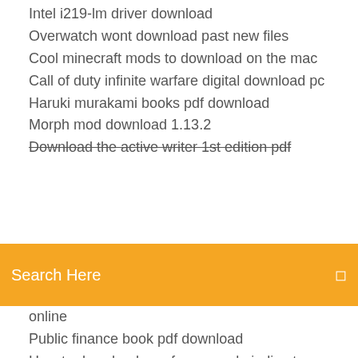Intel i219-lm driver download
Overwatch wont download past new files
Cool minecraft mods to download on the mac
Call of duty infinite warfare digital download pc
Haruki murakami books pdf download
Morph mod download 1.13.2
Download the active writer 1st edition pdf
[Figure (screenshot): Orange search bar with text 'Search Here' and a search icon on the right]
online
Public finance book pdf download
How to download app from google india store
Mac os download pc
Where does the book i downloaded go android
Force link 2.0 app download
Download ae file animation
Red roof logo font download
Crusader kings fantasy mod download
How to download music to android from laptop